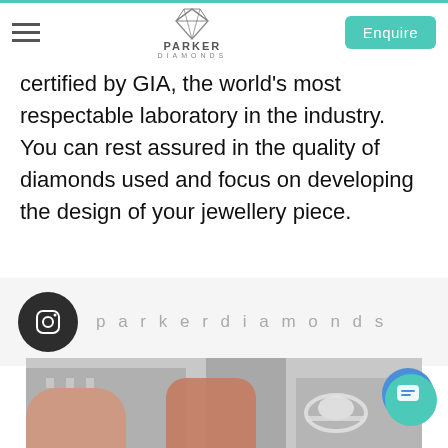PARKER DIAMONDS — Navigation header with Enquire button
certified by GIA, the world's most respectable laboratory in the industry. You can rest assured in the quality of diamonds used and focus on developing the design of your jewellery piece.
[Figure (screenshot): Instagram handle 'parkerdiamonds' with Instagram icon on grey background]
[Figure (photo): Close-up photo of fingers wearing a diamond oval engagement ring with pavé band, with blurred building background]